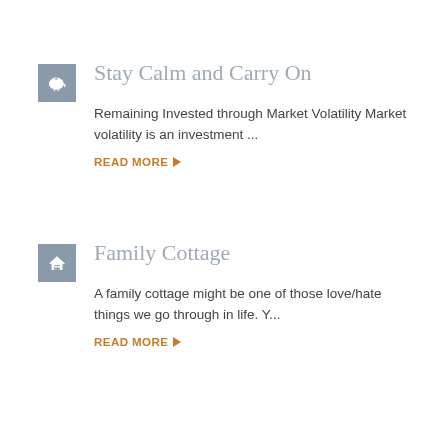Stay Calm and Carry On
Remaining Invested through Market Volatility Market volatility is an investment ...
READ MORE ▶
Family Cottage
A family cottage might be one of those love/hate things we go through in life. Y...
READ MORE ▶